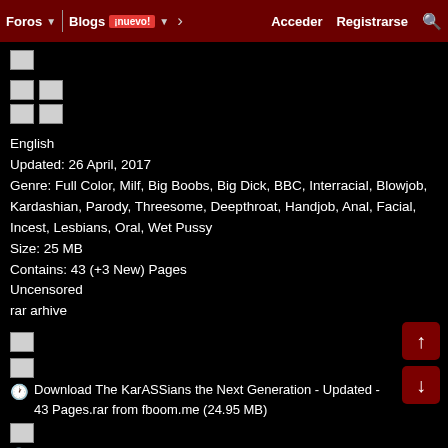Foros  Blogs ¡nuevo!  >  Acceder  Registrarse  🔍
[Figure (illustration): Broken image placeholder (single)]
[Figure (illustration): Broken image placeholders (2x2 grid)]
English
Updated: 26 April, 2017
Genre: Full Color, Milf, Big Boobs, Big Dick, BBC, Interracial, Blowjob, Kardashian, Parody, Threesome, Deepthroat, Handjob, Anal, Facial, Incest, Lesbians, Oral, Wet Pussy
Size: 25 MB
Contains: 43 (+3 New) Pages
Uncensored
rar arhive
[Figure (illustration): Broken image placeholder (single)]
[Figure (illustration): Broken image placeholder (single)]
🌐 Download The KarASSians the Next Generation - Updated - 43 Pages.rar from fboom.me (24.95 MB)
[Figure (illustration): Broken image placeholder (single)]
Download file - 25.0 MB